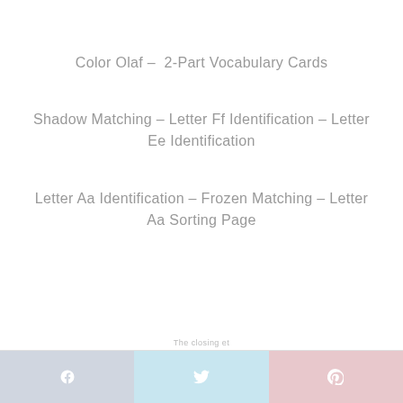Color Olaf –  2-Part Vocabulary Cards
Shadow Matching – Letter Ff Identification – Letter Ee Identification
Letter Aa Identification – Frozen Matching – Letter Aa Sorting Page
f  [Twitter]  [Pinterest]